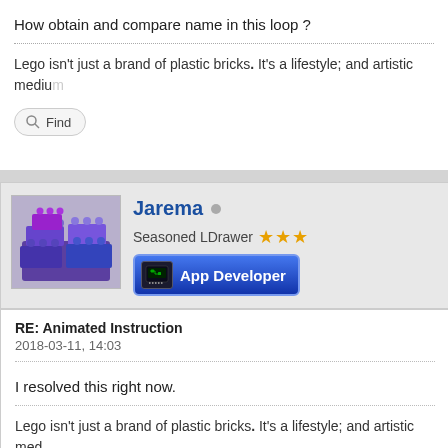How obtain and compare name in this loop ?
Lego isn't just a brand of plastic bricks. It's a lifestyle; and artistic medium
[Figure (screenshot): Find button with magnifying glass icon]
[Figure (photo): Avatar image showing colorful LEGO bricks]
Jarema
Seasoned LDrawer ★★★
[Figure (screenshot): App Developer badge button in blue]
RE: Animated Instruction
2018-03-11, 14:03
I resolved this right now.
Lego isn't just a brand of plastic bricks. It's a lifestyle; and artistic med
[Figure (screenshot): Find button with magnifying glass icon]